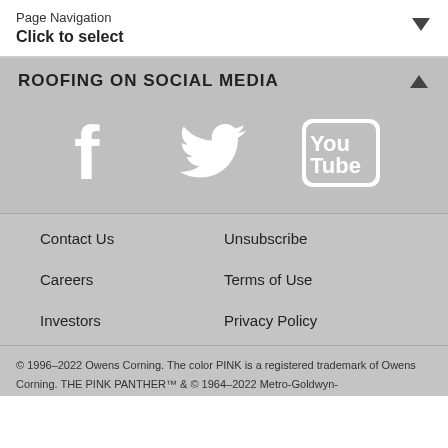Page Navigation
Click to select
ROOFING ON SOCIAL MEDIA
[Figure (illustration): Social media icons: Facebook (f), Twitter (bird), YouTube (You Tube) displayed as white icons on grey background]
Contact Us
Unsubscribe
Careers
Terms of Use
Investors
Privacy Policy
© 1996–2022 Owens Corning. The color PINK is a registered trademark of Owens Corning. THE PINK PANTHER™ & © 1964–2022 Metro-Goldwyn-